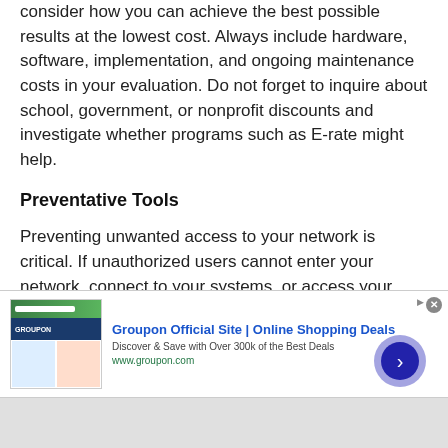consider how you can achieve the best possible results at the lowest cost. Always include hardware, software, implementation, and ongoing maintenance costs in your evaluation. Do not forget to inquire about school, government, or nonprofit discounts and investigate whether programs such as E-rate might help.
Preventative Tools
Preventing unwanted access to your network is critical. If unauthorized users cannot enter your network, connect to your systems, or access your applications, you will significantly reduce the number of security incidents that you will have to respond to.
[Figure (other): Groupon advertisement banner: Groupon Official Site | Online Shopping Deals. Discover & Save with Over 300k of the Best Deals. www.groupon.com. With a forward arrow button and close button.]